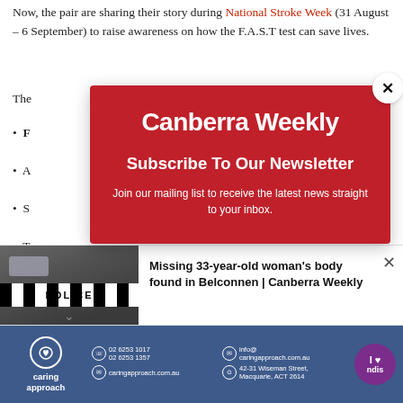Now, the pair are sharing their story during National Stroke Week (31 August – 6 September) to raise awareness on how the F.A.S.T test can save lives.
The [partially hidden by modal]
F [partially hidden by modal]
A [partially hidden by modal]
S [partially hidden by modal]
T [partially hidden by modal]
S [partially hidden]
Altho [partially hidden by modal]
"wor [partially hidden]
[Figure (screenshot): Canberra Weekly newsletter subscription modal popup with red background, showing 'Canberra Weekly' logo, 'Subscribe To Our Newsletter' heading, and 'Join our mailing list to receive the latest news straight to your inbox.' text. A close button (X) is in the top right corner.]
[Figure (screenshot): Bottom notification bar showing a police car image with black and white tape reading 'POLICE' and headline: 'Missing 33-year-old woman's body found in Belconnen | Canberra Weekly']
[Figure (screenshot): Advertisement banner for 'caring approach' with phone numbers 02 6253 1017, 02 6253 1357, email info@caringapproach.com.au, website caringapproach.com.au, address 42-31 Wiseman Street, Macquarie, ACT 2614, and NDIS logo badge.]